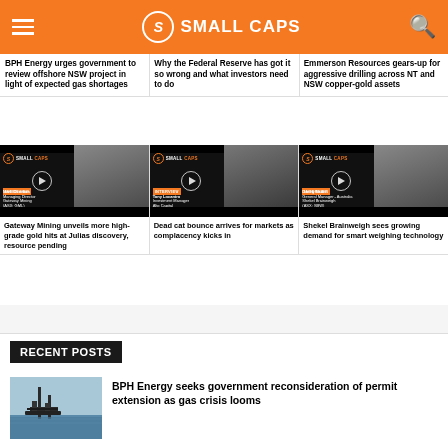SMALL CAPS
BPH Energy urges government to review offshore NSW project in light of expected gas shortages
Why the Federal Reserve has got it so wrong and what investors need to do
Emmerson Resources gears-up for aggressive drilling across NT and NSW copper-gold assets
[Figure (screenshot): Video thumbnail: Mark Connors, Managing Director, Gateway Mining (ASX: GML) - Small Caps interview]
[Figure (screenshot): Video thumbnail: Tony Locantro, Investment Manager, Alto Capital - Small Caps interview]
[Figure (screenshot): Video thumbnail: Danny Nadri, General Manager - Australia, Shekel Brainweigh (ASX: SBW) - Small Caps interview]
Gateway Mining unveils more high-grade gold hits at Julias discovery, resource pending
Dead cat bounce arrives for markets as complacency kicks in
Shekel Brainweigh sees growing demand for smart weighing technology
RECENT POSTS
[Figure (photo): Photo of an offshore oil rig platform on water]
BPH Energy seeks government reconsideration of permit extension as gas crisis looms